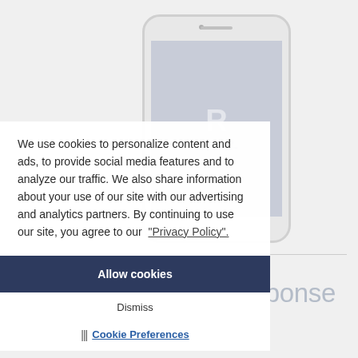[Figure (screenshot): Cookie consent overlay on a webpage showing a smartphone mockup for Interactive Voice Response System. The overlay contains cookie policy text, an 'Allow cookies' button, a 'Dismiss' button, and a 'Cookie Preferences' link with an icon.]
We use cookies to personalize content and ads, to provide social media features and to analyze our traffic. We also share information about your use of our site with our advertising and analytics partners. By continuing to use our site, you agree to our "Privacy Policy".
Allow cookies
Dismiss
Cookie Preferences
Interactive Voice Response
System